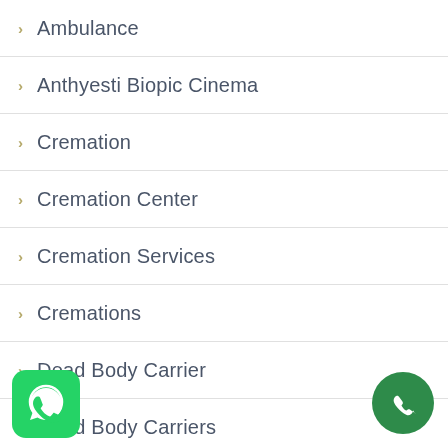Ambulance
Anthyesti Biopic Cinema
Cremation
Cremation Center
Cremation Services
Cremations
Dead Body Carrier
Dead Body Carriers
Dead Body Freezer Box